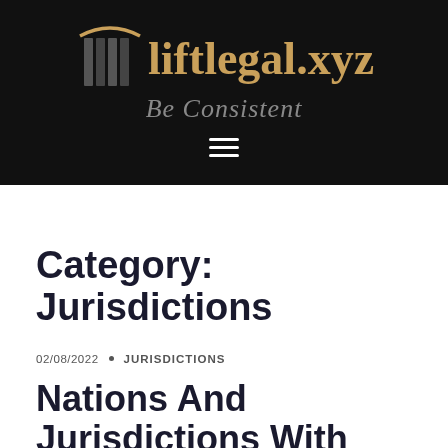[Figure (logo): liftlegal.xyz logo with pillar icon and tagline 'Be Consistent' on black background, with hamburger menu icon below]
Category: Jurisdictions
02/08/2022 • JURISDICTIONS
Nations And Jurisdictions With Necessary